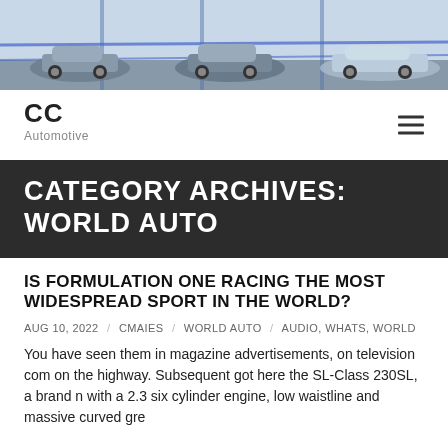[Figure (photo): Hero image of cars parked in a lot, with blue structural elements visible, showing various car models including silver cars]
CC Automotive
CATEGORY ARCHIVES: WORLD AUTO
IS FORMULATION ONE RACING THE MOST WIDESPREAD SPORT IN THE WORLD?
AUG 10, 2022 / CMAIES / WORLD AUTO / AUDIO, WHATS, WORLD
You have seen them in magazine advertisements, on television com on the highway. Subsequent got here the SL-Class 230SL, a brand n with a 2.3 six cylinder engine, low waistline and massive curved gre